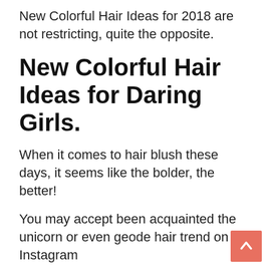New Colorful Hair Ideas for 2018 are not restricting, quite the opposite.
New Colorful Hair Ideas for Daring Girls.
When it comes to hair blush these days, it seems like the bolder, the better!
You may accept been acquainted the unicorn or even geode hair trend on Instagram
but this summer is all about agrarian and out there.
Check out our theme New Colorful Hair Ideas For